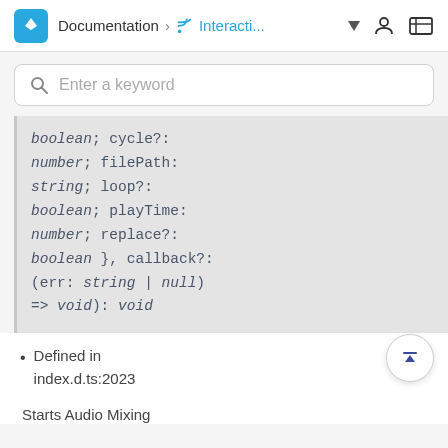Documentation > Interacti... (nav bar with logo, breadcrumb, user icon, menu icon)
Enter a keyword (search bar placeholder)
boolean; cycle?:
number; filePath:
string; loop?:
boolean; playTime:
number; replace?:
boolean }, callback?:
(err: string | null)
=> void): void
Defined in
index.d.ts:2023
Starts Audio Mixing